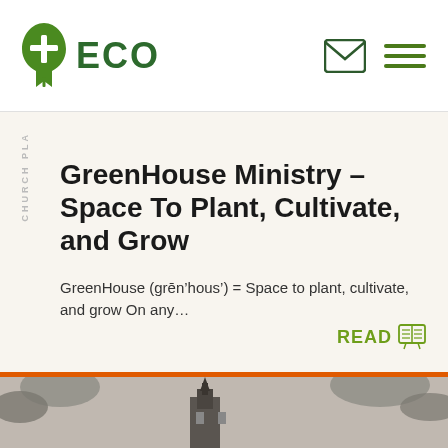ECO - Church Planting
GreenHouse Ministry – Space To Plant, Cultivate, and Grow
GreenHouse (grēn&#8217;hous&#8217;) = Space to plant, cultivate, and grow On any…
READ
[Figure (photo): Black and white photo of a church building with leaves in foreground]